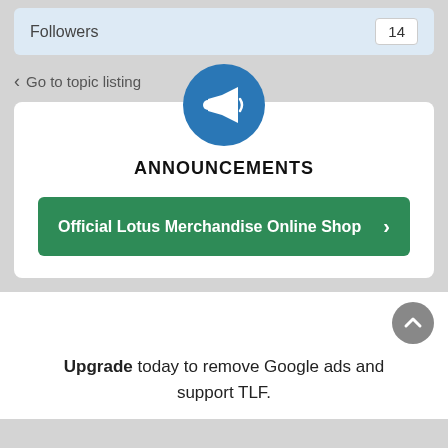| Followers | 14 |
| --- | --- |
< Go to topic listing
[Figure (illustration): Blue circle icon with white megaphone/loudspeaker]
ANNOUNCEMENTS
Official Lotus Merchandise Online Shop >
Upgrade today to remove Google ads and support TLF.